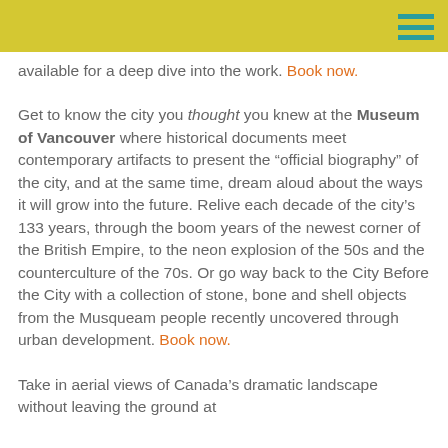available for a deep dive into the work. Book now.
Get to know the city you thought you knew at the Museum of Vancouver where historical documents meet contemporary artifacts to present the “official biography” of the city, and at the same time, dream aloud about the ways it will grow into the future. Relive each decade of the city’s 133 years, through the boom years of the newest corner of the British Empire, to the neon explosion of the 50s and the counterculture of the 70s. Or go way back to the City Before the City with a collection of stone, bone and shell objects from the Musqueam people recently uncovered through urban development. Book now.
Take in aerial views of Canada’s dramatic landscape without leaving the ground at